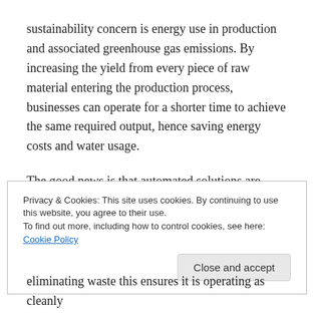sustainability concern is energy use in production and associated greenhouse gas emissions. By increasing the yield from every piece of raw material entering the production process, businesses can operate for a shorter time to achieve the same required output, hence saving energy costs and water usage.
The good news is that automated solutions are available to address these issues. Solutions that are both environmentally friendly and commercially savvy enhance processors' green credentials while also preventing waste from cutting away at the bottom line
Privacy & Cookies: This site uses cookies. By continuing to use this website, you agree to their use.
To find out more, including how to control cookies, see here: Cookie Policy
Close and accept
eliminating waste this ensures it is operating as cleanly